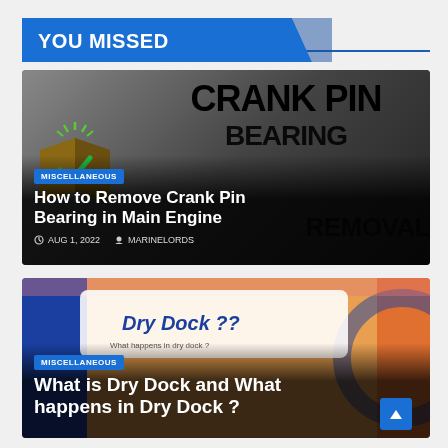YOU MISSED
[Figure (screenshot): Article card: How to Remove Crank Pin Bearing in Main Engine, with MISCELLANEOUS badge, date AUG 1, 2022, author MARINELORDS. Background shows text CRANK PIN BEARING REMOVAL over dark gradient.]
How to Remove Crank Pin Bearing in Main Engine
AUG 1, 2022   MARINELORDS
[Figure (screenshot): Article card: What is Dry Dock and What happens in Dry Dock? with MISCELLANEOUS badge. Background shows colorful dry dock illustration.]
What is Dry Dock and What happens in Dry Dock ?